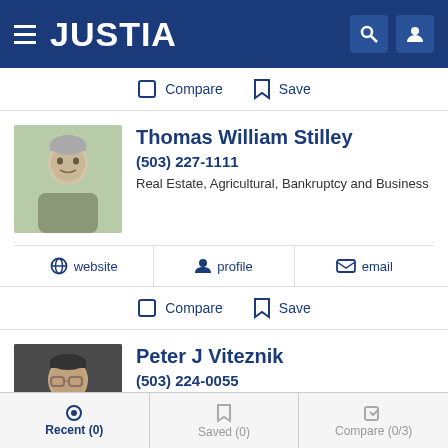JUSTIA
Compare  Save
Thomas William Stilley
(503) 227-1111
Real Estate, Agricultural, Bankruptcy and Business
website  profile  email
Compare  Save
Peter J Viteznik
(503) 224-0055
Real Estate, Business, Construction and Insurance Claims
Recent (0)  Saved (0)  Compare (0/3)